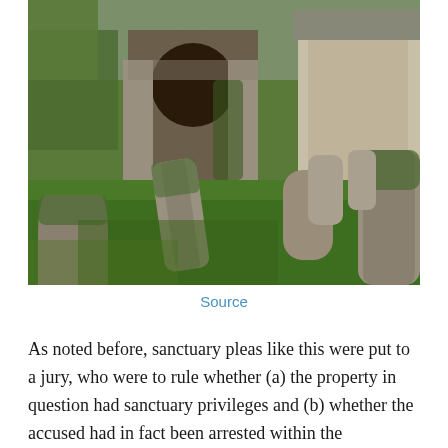[Figure (photo): A churchyard cemetery scene with old moss-covered gravestones on green grass, with a stone church building featuring an arched entrance visible in the background.]
Source
As noted before, sanctuary pleas like this were put to a jury, who were to rule whether (a) the property in question had sanctuary privileges and (b) whether the accused had in fact been arrested within the sanctuary's bounds. In this case the Nottinghamshire jury decided in 1496 that the field in question was, in fact, sanctuary,